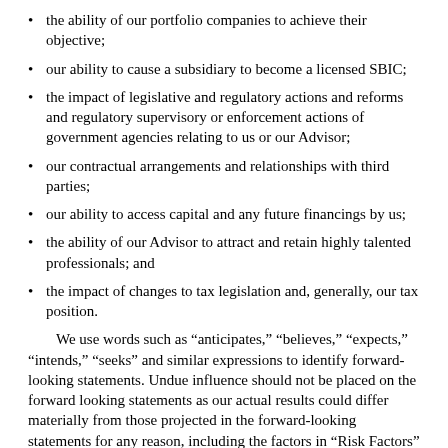the ability of our portfolio companies to achieve their objective;
our ability to cause a subsidiary to become a licensed SBIC;
the impact of legislative and regulatory actions and reforms and regulatory supervisory or enforcement actions of government agencies relating to us or our Advisor;
our contractual arrangements and relationships with third parties;
our ability to access capital and any future financings by us;
the ability of our Advisor to attract and retain highly talented professionals; and
the impact of changes to tax legislation and, generally, our tax position.
We use words such as “anticipates,” “believes,” “expects,” “intends,” “seeks” and similar expressions to identify forward-looking statements. Undue influence should not be placed on the forward looking statements as our actual results could differ materially from those projected in the forward-looking statements for any reason, including the factors in “Risk Factors” and elsewhere in this annual report on Form 10-K.
We have based the forward-looking statements included in this report on information available to us on the date of this report, and we assume no obligation to update any such forward-looking statements. Although we undertake no obligation to revise or update any forward-looking statements in this annual report on Form 10-K, whether as a result of new information, future events or otherwise, you are advised